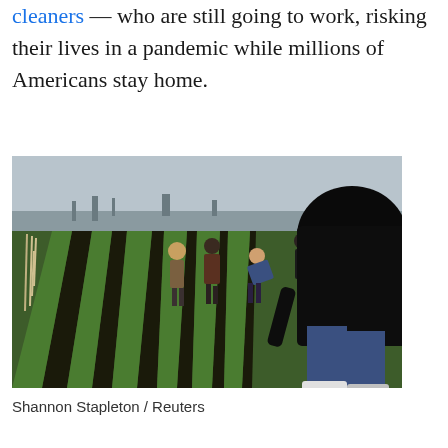cleaners — who are still going to work, risking their lives in a pandemic while millions of Americans stay home.
[Figure (photo): Farm workers walking and bending over in rows of green crops in a large agricultural field. One large figure in a black jacket is prominent in the foreground bending down. Several workers are visible walking away in the background between crop rows. Industrial structures visible on the horizon under a grey sky.]
Shannon Stapleton / Reuters